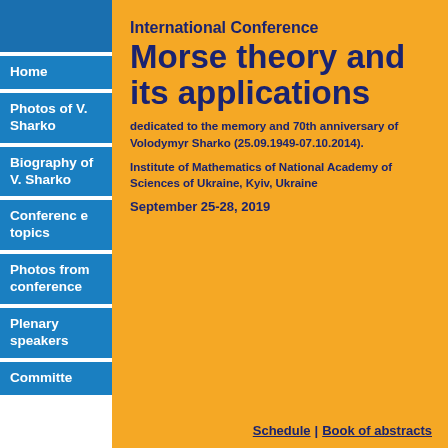Home
Photos of V. Sharko
Biography of V. Sharko
Conference topics
Photos from conference
Plenary speakers
Committe
International Conference Morse theory and its applications
dedicated to the memory and 70th anniversary of Volodymyr Sharko (25.09.1949-07.10.2014).
Institute of Mathematics of National Academy of Sciences of Ukraine, Kyiv, Ukraine
September 25-28, 2019
Schedule | Book of abstracts